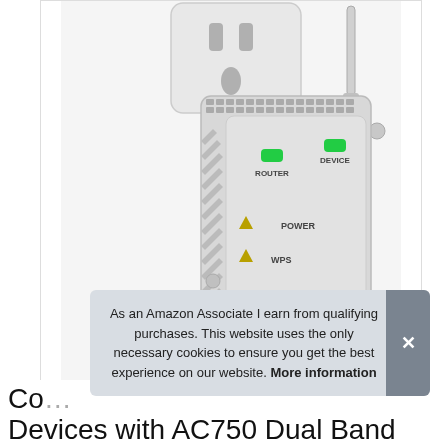[Figure (photo): NETGEAR WiFi range extender plugged into a wall outlet, showing ROUTER and DEVICE green LED indicators, POWER and WPS amber triangle indicators on the front panel, with two external antennas, ventilation grilles on the sides, and a partial NETGEAR logo at the bottom.]
As an Amazon Associate I earn from qualifying purchases. This website uses the only necessary cookies to ensure you get the best experience on our website. More information
Co...
Devices with AC750 Dual Band